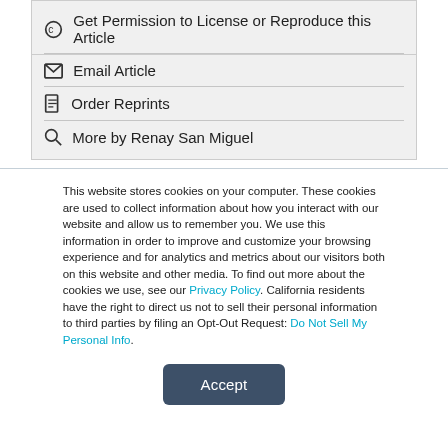Get Permission to License or Reproduce this Article
Email Article
Order Reprints
More by Renay San Miguel
This website stores cookies on your computer. These cookies are used to collect information about how you interact with our website and allow us to remember you. We use this information in order to improve and customize your browsing experience and for analytics and metrics about our visitors both on this website and other media. To find out more about the cookies we use, see our Privacy Policy. California residents have the right to direct us not to sell their personal information to third parties by filing an Opt-Out Request: Do Not Sell My Personal Info.
Accept